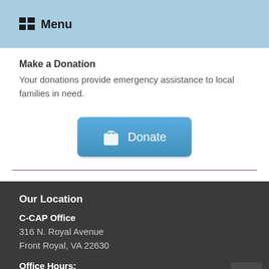Menu
Make a Donation
Your donations provide emergency assistance to local families in need.
[Figure (other): Donate button with shopping bag icon]
Our Location
C-CAP Office
316 N. Royal Avenue
Front Royal, VA 22630
Office Hours:
CCAP Office Hours are currently limited due to COVID Pandemic